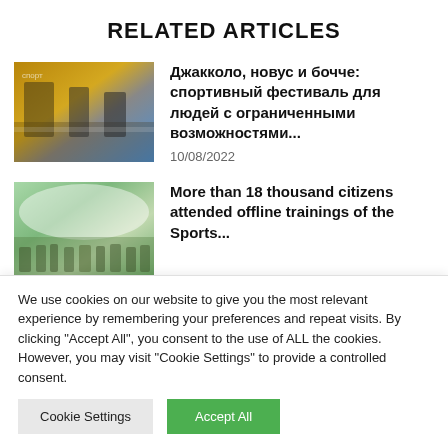RELATED ARTICLES
[Figure (photo): People in a gymnasium/sports hall playing a game, with yellow flooring and blue walls visible]
Джакколо, новус и бочче: спортивный фестиваль для людей с ограниченными возможностями...
10/08/2022
[Figure (photo): Outdoor sports event with many people gathered under a white tent structure]
More than 18 thousand citizens attended offline trainings of the Sports...
We use cookies on our website to give you the most relevant experience by remembering your preferences and repeat visits. By clicking "Accept All", you consent to the use of ALL the cookies. However, you may visit "Cookie Settings" to provide a controlled consent.